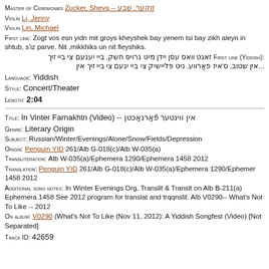Master of Ceremonies: Zucker, Sheva -- זוקער, שבע
Violin: Li, Jenny
Violin: Lin, Michael
First line: Zogt vos esn yidn mit groys kheyshek bay yenem tsi bay zikh aleyn in shtub, s'iz parve. Nit ,mikkhiks un nit fleyshiks.
First line (Yiddish): זאגט וואס עסן יידן מיט גרויס חשק, ביי יענעם צי ביי זיך...אין שטוב, ס'איז פארווע. ניט פליישיק צי ביי ינעם צי ביי זיך אין
Language: Yiddish
Style: Concert/Theater
Length: 2:04
Title: In Vinter Farnakhtn (Video) -- אין ווינטער פארנאכטן
Genre: Literary Origin
Subject: Russian/Winter/Evenings/Alone/Snow/Fields/Depression
Origin: Penguin YID 261/Alb G-018(c)/Alb W-035(a)
Transliteration: Alb W-035(a)/Ephemera 1290/Ephemera 1458 2012
Translation: Penguin YID 261/Alb G-018(c)/Alb W-035(a)/Ephemera 1290/Ephemer 1458 2012
Additional song notes: In Winter Evenings Org, Translit & Translt on Alb B-211(a) Ephemera 1458 See 2012 program for translat and trqqnslit. Alb V0290-- What's Not To Like -- 2012
On album: V0290 (What's Not To Like (Nov 11, 2012): A Yiddish Songfest (Video) [Not Separated]
Track ID: 42659